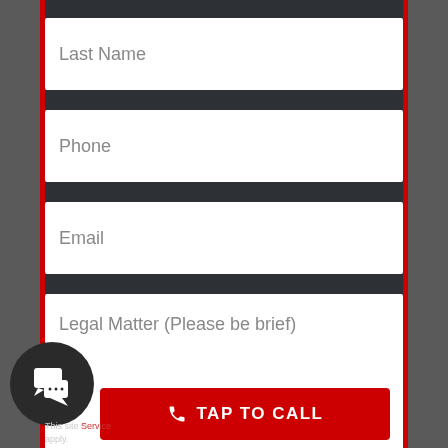Last Name
Phone
Email
Legal Matter (Please be brief)
TAP TO CALL
This site is protected by reCAPTCHA and the Google Privacy Policy and Terms of Service apply.